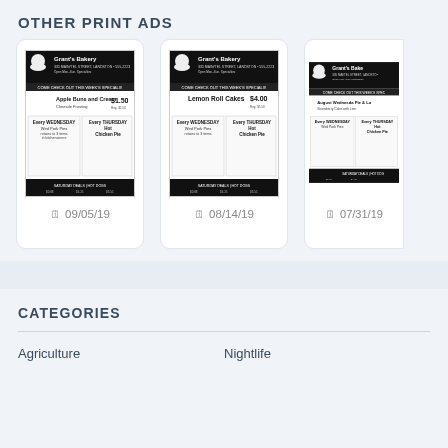OTHER PRINT ADS
[Figure (screenshot): Grant's Bakery print ad thumbnail dated 09/05/19]
[Figure (screenshot): Grant's Bakery print ad - Lemon Roll Cakes $4.00 - dated 08/14/19]
[Figure (screenshot): Grant's Bakery print ad thumbnail dated 07/31/19]
CATEGORIES
Agriculture
Nightlife